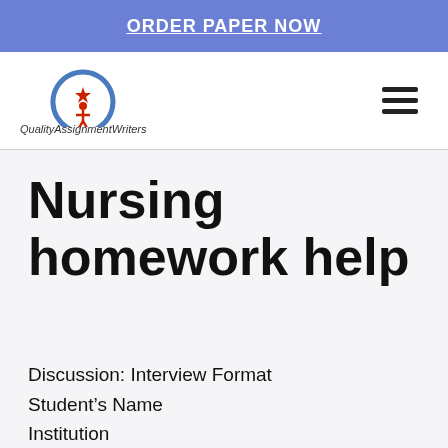ORDER PAPER NOW
[Figure (logo): QualityAssignmentWriters logo with circular icon containing a star and person figure, with text QualityAssignmentWriters below]
Nursing homework help
Discussion: Interview Format
Student’s Name
Institution